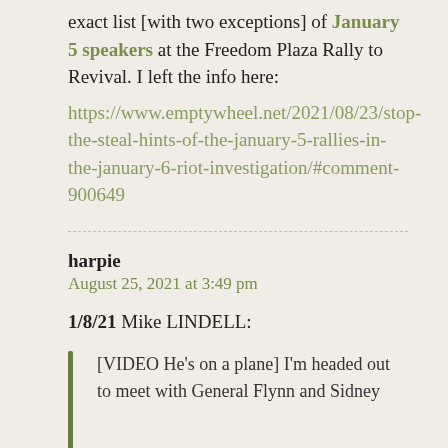exact list [with two exceptions] of January 5 speakers at the Freedom Plaza Rally to Revival. I left the info here: https://www.emptywheel.net/2021/08/23/stop-the-steal-hints-of-the-january-5-rallies-in-the-january-6-riot-investigation/#comment-900649
harpie
August 25, 2021 at 3:49 pm
1/8/21 Mike LINDELL:
[VIDEO He's on a plane] I'm headed out to meet with General Flynn and Sidney